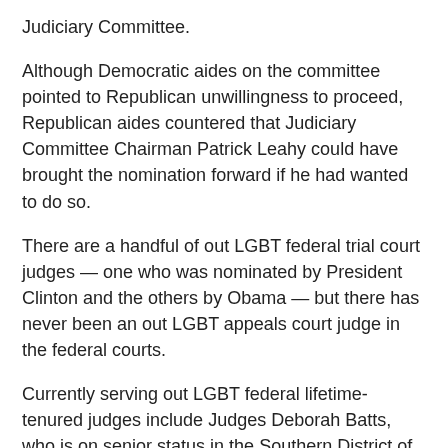Judiciary Committee.
Although Democratic aides on the committee pointed to Republican unwillingness to proceed, Republican aides countered that Judiciary Committee Chairman Patrick Leahy could have brought the nomination forward if he had wanted to do so.
There are a handful of out LGBT federal trial court judges — one who was nominated by President Clinton and the others by Obama — but there has never been an out LGBT appeals court judge in the federal courts.
Currently serving out LGBT federal lifetime-tenured judges include Judges Deborah Batts, who is on senior status in the Southern District of New York; Judges Paul Oetken and Alison Nathan, both also of the Southern District of New York; and Judge Michael Fitzgerald of the Central District of California